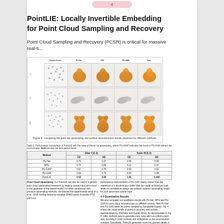PointLIE: Locally Invertible Embedding for Point Cloud Sampling and Recovery
Point Cloud Sampling and Recovery (PCSR) is critical for massive real-ti...
[Figure (illustration): Grid of point cloud sampling and reconstruction results comparing Sample Points, PU-Net, LPD, PU-GAN, Ours, and Ground truths methods across three object rows (x4, x8, x16). Each cell shows either a point cloud scatter or a 3D rendered model.]
Figure 4: Comparing the point set upsampling and surface reconstruction results produced by different methods.
Table 2: Performance comparison of PointLIE with the state-of-the-art for upsampling, where PU-GAN* indicates the result of PU-GAN without the discriminator. Bold denotes the best performance.
| Method | Jitter 4 (E-3) CD | Scale 4\8 (E-3) CD | HD |
| --- | --- | --- | --- |
| PU-Net | 0.70 | 4.37 | 4.08 | 0.59 |
| MPU | 0.70 | 5.86 | 4.12 | 0.47 |
| PU-GAN* | 0.67 | 3.79 | 3.93 | 0.52 |
| PU-GAN | 0.66 | 3.79 | 3.50 | 0.58 |
| PointLIE | 0.52 | 3.49 | 1.06 | 0.448 |
Point Cloud Upsampling. Our PointLIE can also be used in a generic point cloud upsampling framework by feeding coarse input point cloud to the generator of the trained model. For a fair comparison with previous upsampling methods, we followed the experimental setup of Li et al., 2019, forcing randomly sampled 2048/2 points to predict 5752 point out-
performance improvements of PU-GAN mainly comes from the interaction of a discriminator rather than the model architecture itself, while our architecture design can achieve superior upsampling results for both dense and sparse input.
4.4 Quantitative Results
We also compared our qualitative results with PU-Net, MPU and PU-GAN for point cloud reconstruction on different scenes. Here PU-Net and PU-GAN leave the points sampled by SampleNet bypass. Fig. 4 shows the visual results of points in accuracy and surface representation by (Kazhdan and Hoppe, 2011). As demonstrated in Fig. 4, other methods tend to generate more noisy and non-uniform point sets, resulting in noisy surfaces and ambiguities on the reconstructed surfaces. Specifically, PointLIE generates more fine-grained details in the reconstructed results, especially for hard geometric shapes (e.g., human hands, bird claws and dragon horns). More visualization results are shown in the supplementary.
4.5 Ablation Study